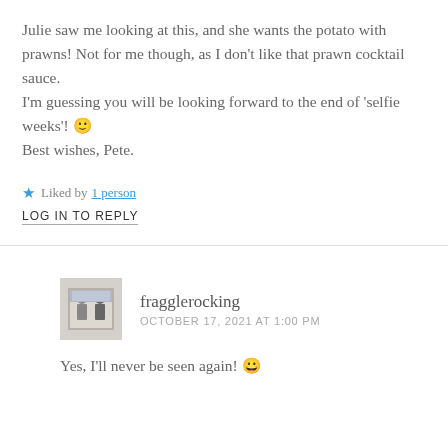Julie saw me looking at this, and she wants the potato with prawns! Not for me though, as I don't like that prawn cocktail sauce.
I'm guessing you will be looking forward to the end of 'selfie weeks'! 🙂
Best wishes, Pete.
Liked by 1 person
LOG IN TO REPLY
fragglerocking
OCTOBER 17, 2021 AT 1:00 PM
Yes, I'll never be seen again! 😀